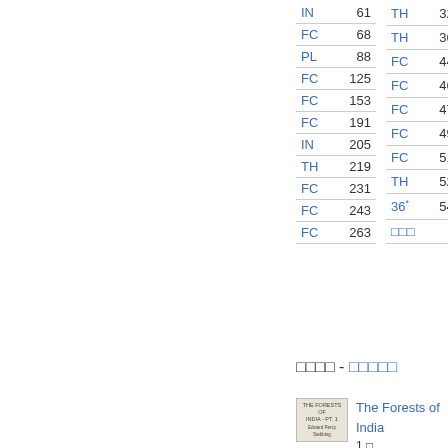| Code | Num | Code | Num |
| --- | --- | --- | --- |
| IN | 61 | TH | 325 |
| FC | 68 | TH | 367 |
| PL | 88 | FC | 448 |
| FC | 125 | FC | 464 |
| FC | 153 | FC | 476 |
| FC | 191 | FC | 497 |
| IN | 205 | FC | 514 |
| TH | 219 | TH | 521 |
| FC | 231 | 36* | 541 |
| FC | 243 | □□□ |  |
| FC | 263 |  |  |
□□□□ - □□□□□
[Figure (illustration): Small thumbnail image of a book cover titled 'The Forests of India']
The Forests of India
1 □
Edward Percy Stebbing